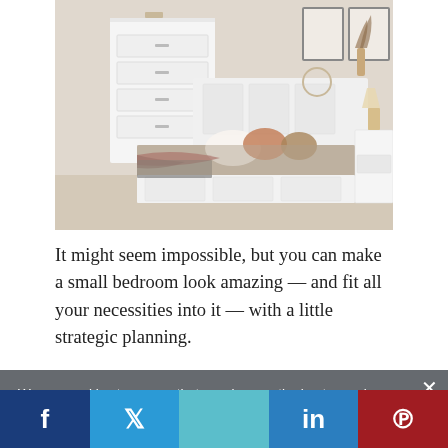[Figure (photo): A white bedroom with a storage bed with drawers underneath, a white dresser with multiple drawers, a small white nightstand, and framed artwork on the wall. Tan/gray bedding with colorful throw pillows and a patterned blanket.]
It might seem impossible, but you can make a small bedroom look amazing — and fit all your necessities into it — with a little strategic planning.
Here are seven tips from experts to make your undersized space seem downright roomy, without
We use cookies to ensure that we give you the best experience on our website. If you continue to use this site we will assume that you are ok with this.